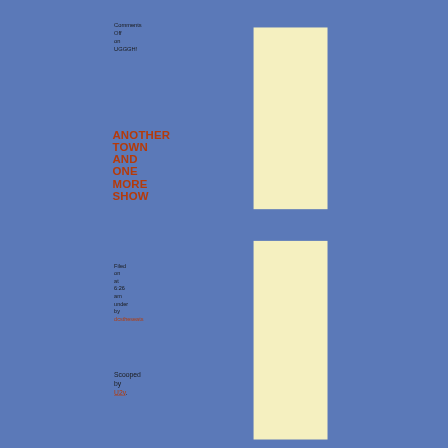Comments Off on UGGGH!
ANOTHER TOWN AND ONE MORE SHOW
Filed on at 6:26 am under by dcstheseats
Scooped by U2v.